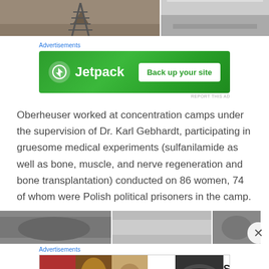[Figure (photo): Two photos: left shows railroad tracks receding into distance (color), right shows a road/path in black and white]
Advertisements
[Figure (screenshot): Jetpack advertisement banner — green background with Jetpack logo and 'Back up your site' button]
Oberheuser worked at concentration camps under the supervision of Dr. Karl Gebhardt, participating in gruesome medical experiments (sulfanilamide as well as bone, muscle, and nerve regeneration and bone transplantation) conducted on 86 women, 74 of whom were Polish political prisoners in the camp.
[Figure (photo): Three partially visible black and white photos at the bottom of the page]
Advertisements
[Figure (screenshot): ULTA beauty advertisement with makeup imagery and 'SHOP NOW' button]